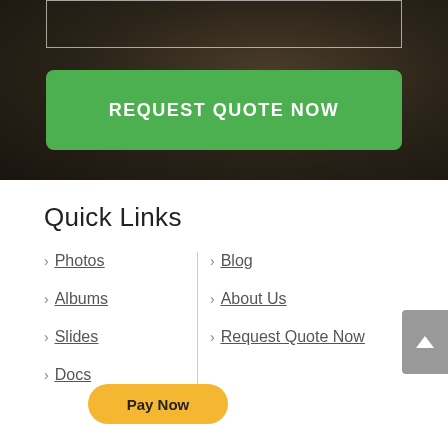[Figure (screenshot): Dark brownish blurred background with a white-bordered input box at top and a green REQUEST QUOTE NOW button below it]
Quick Links
Photos
Albums
Slides
Docs
Blog
About Us
Request Quote Now
Pay Now